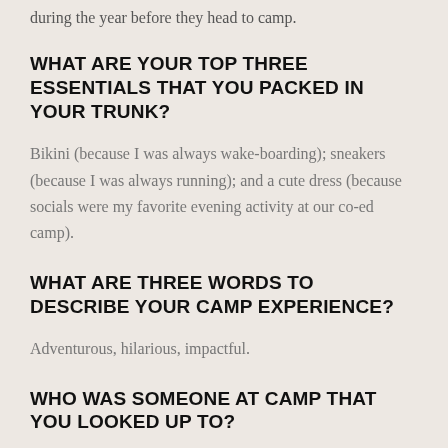during the year before they head to camp.
WHAT ARE YOUR TOP THREE ESSENTIALS THAT YOU PACKED IN YOUR TRUNK?
Bikini (because I was always wake-boarding); sneakers (because I was always running); and a cute dress (because socials were my favorite evening activity at our co-ed camp).
WHAT ARE THREE WORDS TO DESCRIBE YOUR CAMP EXPERIENCE?
Adventurous, hilarious, impactful.
WHO WAS SOMEONE AT CAMP THAT YOU LOOKED UP TO?